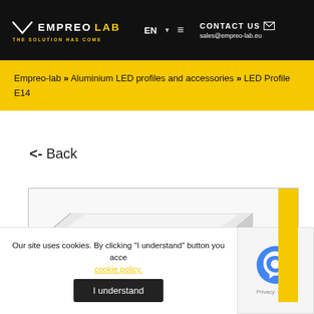EMPREO LAB THE SOLUTION HAS COME | EN | CONTACT US sales@empreo-lab.eu
Empreo-lab >> Aluminium LED profiles and accessories >> LED Profile E14
<- Back
[Figure (photo): Aluminium LED profile E14 product photo, showing a silver extruded aluminium LED channel profile with frosted diffuser, viewed at an angle. Yellow tab on the right side.]
Our site uses cookies. By clicking "I understand" button you accept our cookie policy.